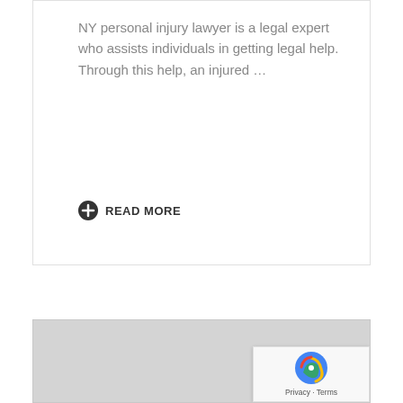NY personal injury lawyer is a legal expert who assists individuals in getting legal help. Through this help, an injured …
+ READ MORE
[Figure (map): Gray placeholder map area, likely an embedded Google Map widget with reCAPTCHA badge in lower right corner showing Privacy and Terms links.]